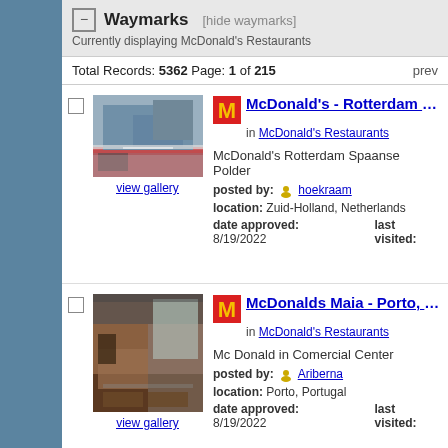Waymarks [hide waymarks] Currently displaying McDonald's Restaurants
Total Records: 5362 Page: 1 of 215 prev
[Figure (photo): Exterior photo of McDonald's Rotterdam Spaanse Polder, showing parking area and road]
McDonald's - Rotterdam Spaanse P
in McDonald's Restaurants
McDonald's Rotterdam Spaanse Polder
posted by: hoekraam
location: Zuid-Holland, Netherlands
date approved: 8/19/2022 last visited:
[Figure (photo): Interior photo of McDonalds Maia - Porto, Portugal, showing restaurant seating area]
McDonalds Maia - Porto, Portugal
in McDonald's Restaurants
Mc Donald in Comercial Center
posted by: Ariberna
location: Porto, Portugal
date approved: 8/19/2022 last visited: